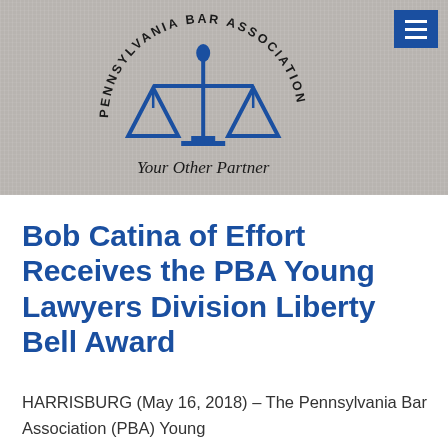[Figure (logo): Pennsylvania Bar Association logo with blue scales of justice icon and circular text reading 'PENNSYLVANIA BAR ASSOCIATION', with tagline 'Your Other Partner' in italic serif font below]
Bob Catina of Effort Receives the PBA Young Lawyers Division Liberty Bell Award
HARRISBURG (May 16, 2018) – The Pennsylvania Bar Association (PBA) Young